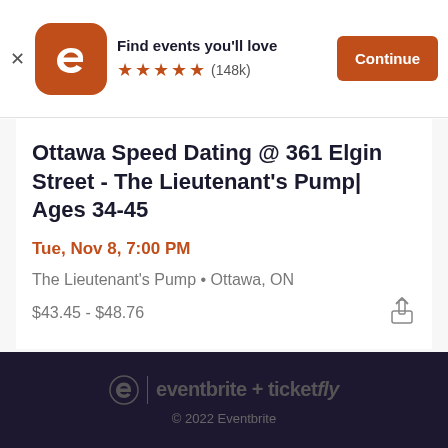Find events you'll love ★★★★★ (148k) Continue
Ottawa Speed Dating @ 361 Elgin Street - The Lieutenant's Pump| Ages 34-45
Tue, Nov 8, 7:00 PM
The Lieutenant's Pump • Ottawa, ON
$43.45 - $48.76
eventbrite + ticketfly © 2022 Eventbrite